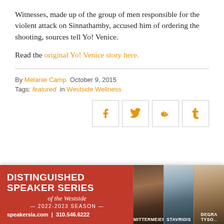Witnesses, made up of the group of men responsible for the violent attack on Sinnathamby, accused him of ordering the shooting, sources tell Yo! Venice.
Read the original Yo! Venice story here.
By Melanie Camp  October 9, 2015
Tags: featured  in Westside Wellness
[Figure (infographic): Social share buttons for Facebook, Twitter, Reddit, and Tumblr]
[Figure (infographic): Advertisement banner for Distinguished Speaker Series of the Westside, 2022-2023 Season. speakersla.com | 310.546.6222. Features photos of Mittermeier, Stavridis, and Degra Tyso.]